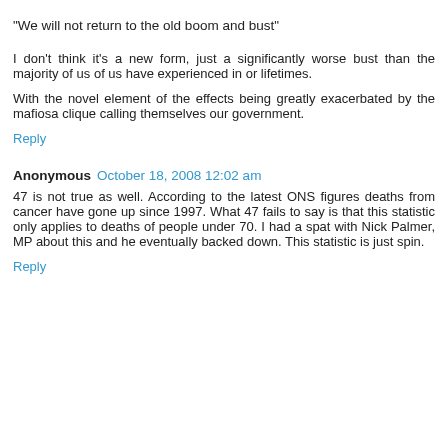"We will not return to the old boom and bust"
I don't think it's a new form, just a significantly worse bust than the majority of us of us have experienced in or lifetimes.
With the novel element of the effects being greatly exacerbated by the mafiosa clique calling themselves our government.
Reply
Anonymous  October 18, 2008 12:02 am
47 is not true as well. According to the latest ONS figures deaths from cancer have gone up since 1997. What 47 fails to say is that this statistic only applies to deaths of people under 70. I had a spat with Nick Palmer, MP about this and he eventually backed down. This statistic is just spin.
Reply